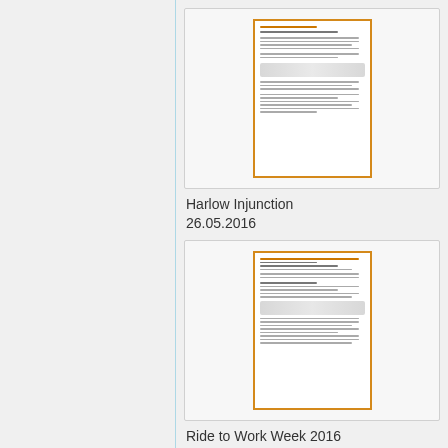[Figure (screenshot): Thumbnail preview of Harlow Injunction document dated 26.05.2016, showing a legal document page with orange border]
Harlow Injunction
26.05.2016
[Figure (screenshot): Thumbnail preview of Ride to Work Week 2016 document dated 17.05.2016, showing a document page with orange border]
Ride to Work Week 2016
17.05.2016